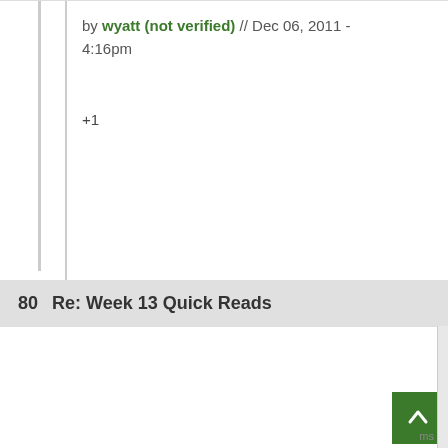by wyatt (not verified) // Dec 06, 2011 - 4:16pm
+1
80  Re: Week 13 Quick Reads
by Eddo // Dec 06, 2011 - 3:22pm
I was looking for something in last year's Quick Reads, and I was struck at how much more well-written and less combative the player comments are this year.